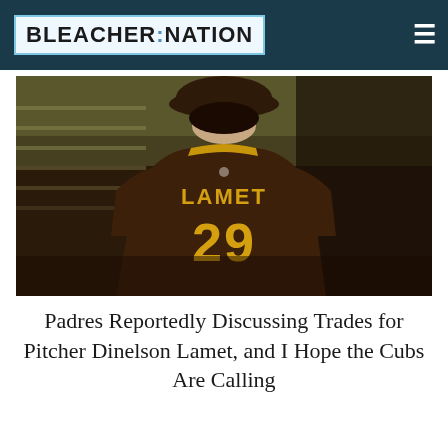BLEACHER NATION
[Figure (photo): Back view of a baseball player wearing a brown San Diego Padres jersey with 'LAMET' and number 29 in gold lettering, wearing a brown cap, in a dimly lit dugout or tunnel.]
Padres Reportedly Discussing Trades for Pitcher Dinelson Lamet, and I Hope the Cubs Are Calling